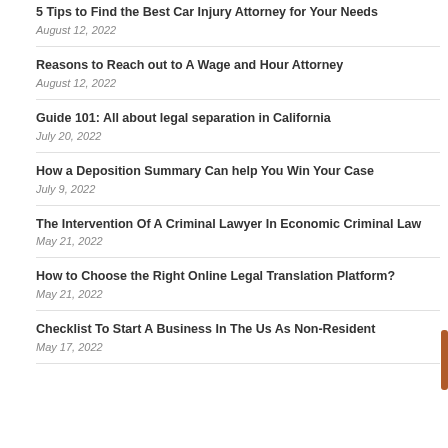5 Tips to Find the Best Car Injury Attorney for Your Needs
August 12, 2022
Reasons to Reach out to A Wage and Hour Attorney
August 12, 2022
Guide 101: All about legal separation in California
July 20, 2022
How a Deposition Summary Can help You Win Your Case
July 9, 2022
The Intervention Of A Criminal Lawyer In Economic Criminal Law
May 21, 2022
How to Choose the Right Online Legal Translation Platform?
May 21, 2022
Checklist To Start A Business In The Us As Non-Resident
May 17, 2022